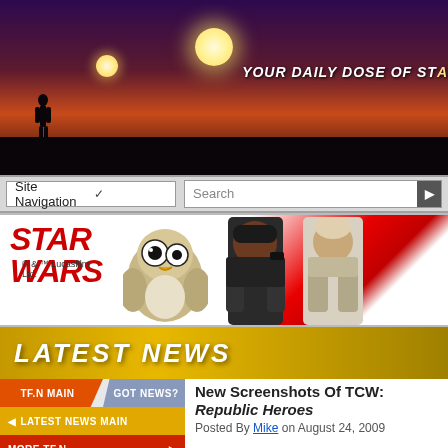[Figure (screenshot): Star Wars fan site banner with twin sunset silhouette and tagline 'YOUR DAILY DOSE OF STA...']
[Figure (screenshot): Site navigation bar with dropdown 'Site Navigation' and search box]
[Figure (advertisement): Star Wars Funko Pop figures advertisement banner with red STAR WARS logo and Porg, Finn, Luke figures]
[Figure (infographic): LATEST NEWS banner in gold/yellow]
TF.N MAIN | GOT NEWS? | LATEST NEWS MAIN | MORE TF.N
New Screenshots Of TCW: Republic Heroes
Posted By Mike on August 24, 2009
LucasArts have been nice enough to provide us with yet even more videogame screenshots coming out of GamesCom 2009. This time, we get a view of both the Xbox 360 and the Nintendo Wii versions of Star Wars: The Clone Wars: Republic Heroes. Click on the pics below for the full views.
[Figure (logo): TheForce.net NOW ON YouTube logo box]